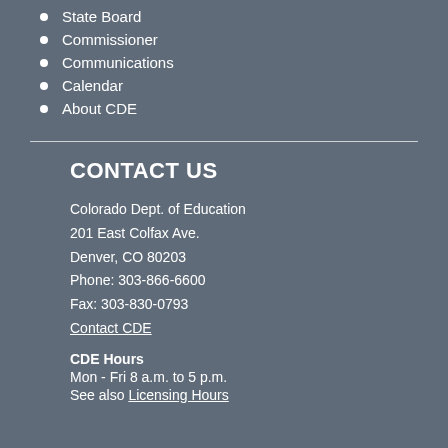State Board
Commissioner
Communications
Calendar
About CDE
CONTACT US
Colorado Dept. of Education
201 East Colfax Ave.
Denver, CO 80203
Phone: 303-866-6600
Fax: 303-830-0793
Contact CDE
CDE Hours
Mon - Fri 8 a.m. to 5 p.m.
See also Licensing Hours
[Figure (logo): Google Translate widget with G logo, Select Language text, and dropdown arrow]
UPDATED December 31, 2019